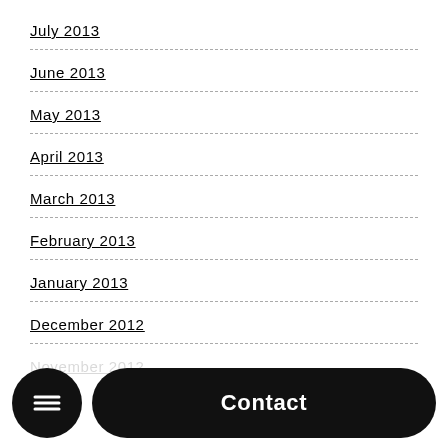July 2013
June 2013
May 2013
April 2013
March 2013
February 2013
January 2013
December 2012
November 2012
Contact